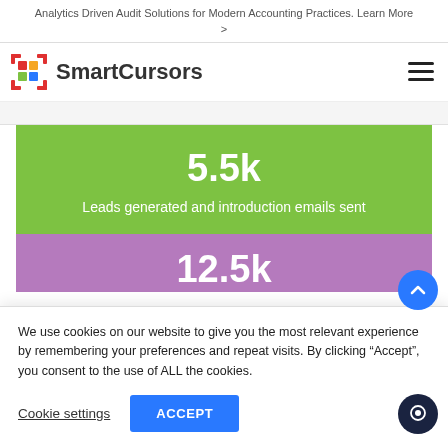Analytics Driven Audit Solutions for Modern Accounting Practices. Learn More >
[Figure (logo): SmartCursors logo with colorful pixel icon and company name]
5.5k
Leads generated and introduction emails sent
12.5k
We use cookies on our website to give you the most relevant experience by remembering your preferences and repeat visits. By clicking “Accept”, you consent to the use of ALL the cookies.
Cookie settings
ACCEPT